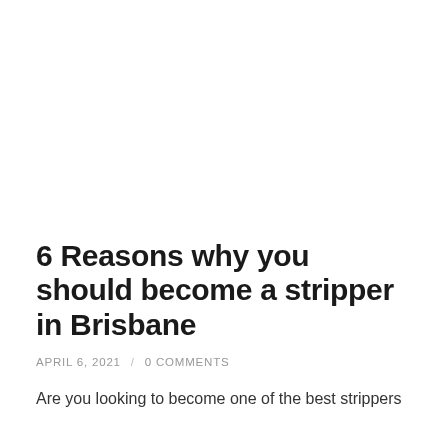6 Reasons why you should become a stripper in Brisbane
APRIL 6, 2021 / 0 COMMENTS
Are you looking to become one of the best strippers